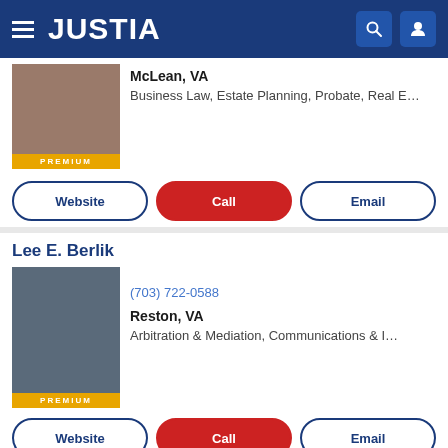JUSTIA
McLean, VA
Business Law, Estate Planning, Probate, Real E...
Website | Call | Email
Lee E. Berlik
(703) 722-0588
Reston, VA
Arbitration & Mediation, Communications & I...
Website | Call | Email
John B. Flood